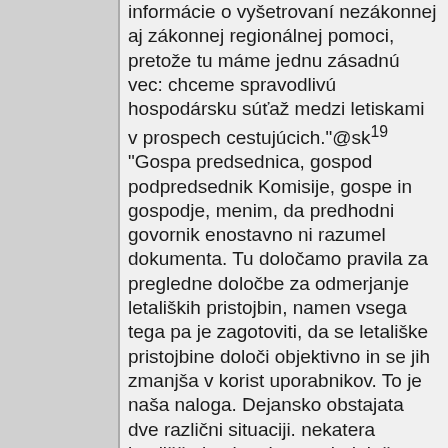informácie o vyšetrovaní nezákonnej aj zákonnej regionálnej pomoci, pretože tu máme jednu zásadnú vec: chceme spravodlivú hospodársku súťaž medzi letiskami v prospech cestujúcich."@sk¹⁹ "Gospa predsednica, gospod podpredsednik Komisije, gospe in gospodje, menim, da predhodni govornik enostavno ni razumel dokumenta. Tu določamo pravila za pregledne določbe za odmerjanje letaliških pristojbin, namen vsega tega pa je zagotoviti, da se letališke pristojbine določi objektivno in se jih zmanjša v korist uporabnikov. To je naša naloga. Dejansko obstajata dve različni situaciji. nekatera letališča imajo tako prevladujoč položaj, da so letalske družbe v bistvu soočene z monopolno situacijo in morda plačujejo previsoke letališke pristojbine. Na drugih,